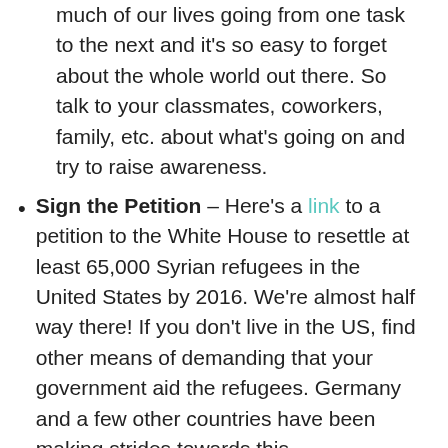much of our lives going from one task to the next and it's so easy to forget about the whole world out there. So talk to your classmates, coworkers, family, etc. about what's going on and try to raise awareness.
Sign the Petition – Here's a link to a petition to the White House to resettle at least 65,000 Syrian refugees in the United States by 2016. We're almost half way there! If you don't live in the US, find other means of demanding that your government aid the refugees. Germany and a few other countries have been making strides towards this.
Donate – Here's a link to SAMS (Syrian American Medical Society) Foundation. This organization has been working tirelessly since the beginnings of this struggle. I've talked to people very knowledgeable about